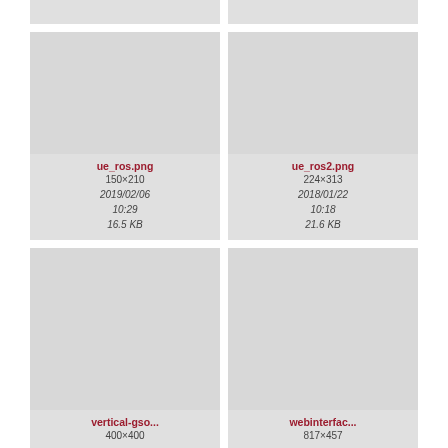[Figure (screenshot): File thumbnail (top partial, left) with metadata: 2018/01/22 10:12, 28.9 KB]
[Figure (screenshot): File thumbnail (top partial, right) with metadata: 2018/01/22 10:12, 25.6 KB]
[Figure (screenshot): File thumbnail for ue_ros.png, 150×210, 2019/02/06 10:29, 16.5 KB]
[Figure (screenshot): File thumbnail for ue_ros2.png, 224×313, 2018/01/22 10:18, 21.6 KB]
[Figure (screenshot): File thumbnail for vertical-gso..., 400×400]
[Figure (screenshot): File thumbnail for webinterfac..., 817×457]